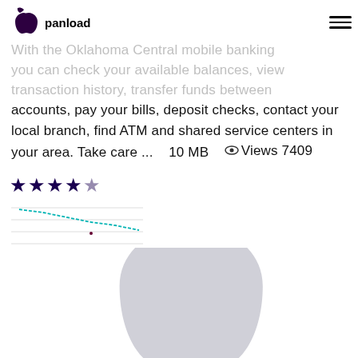[Figure (logo): Apple App Store app header with Apple logo and app name 'panload', hamburger menu icon on right]
With the Oklahoma Central mobile banking you can check your available balances, view transaction history, transfer funds between accounts, pay your bills, deposit checks, contact your local branch, find ATM and shared service centers in your area. Take care ...   10 MB   Views 7409
[Figure (line-chart): Small mini line chart showing a declining trend line, teal/cyan color on white background with horizontal gridlines]
[Figure (logo): Large faded light gray Apple logo watermark filling the lower portion of the page]